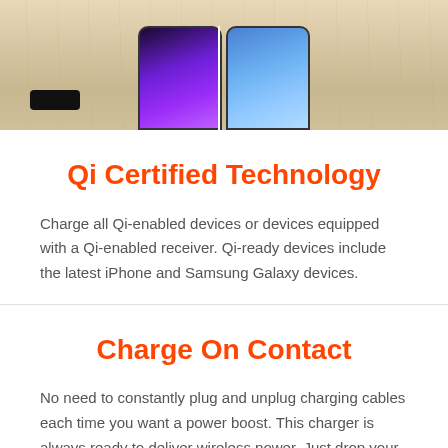[Figure (photo): Two smartphones side by side on a wooden surface — left phone has a dark purple screen, right phone has a light blue screen, with a white dividing line between them and a black cable on the left side.]
Qi Certified Technology
Charge all Qi-enabled devices or devices equipped with a Qi-enabled receiver. Qi-ready devices include the latest iPhone and Samsung Galaxy devices.
Charge On Contact
No need to constantly plug and unplug charging cables each time you want a power boost. This charger is always ready to deliver wireless power. Just drop your phone onto the pad to